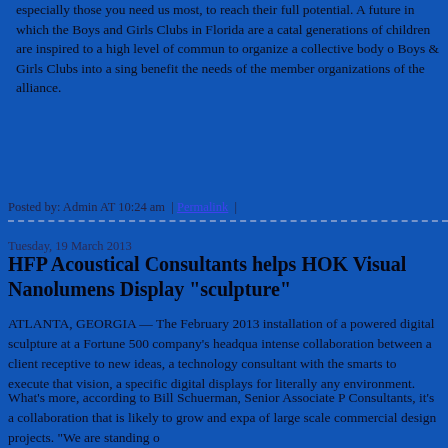especially those you need us most, to reach their full potential. A future in which the Boys and Girls Clubs in Florida are a catalyst for generations of children are inspired to a high level of commun... to organize a collective body o Boys & Girls Clubs into a sing... benefit the needs of the member organizations of the alliance.
Posted by: Admin AT 10:24 am  |  Permalink  |
Tuesday, 19 March 2013
HFP Acoustical Consultants helps HOK Visual Nanolumens Display "sculpture"
ATLANTA, GEORGIA — The February 2013 installation of a powered digital sculpture at a Fortune 500 company's headqua... intense collaboration between a client receptive to new ideas, a technology consultant with the smarts to execute that vision, a specific digital displays for literally any environment.
What’s more, according to Bill Schuerman, Senior Associate P... Consultants, it’s a collaboration that is likely to grow and expa... of large scale commercial design projects. “We are standing o...